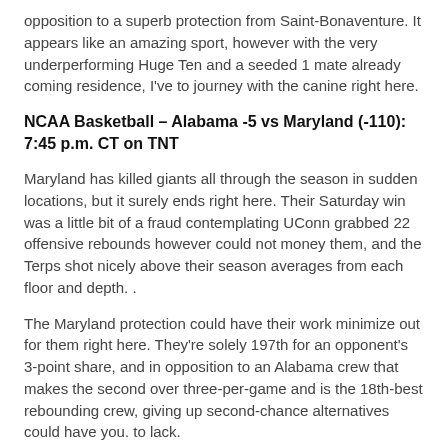opposition to a superb protection from Saint-Bonaventure. It appears like an amazing sport, however with the very underperforming Huge Ten and a seeded 1 mate already coming residence, I've to journey with the canine right here.
NCAA Basketball – Alabama -5 vs Maryland (-110): 7:45 p.m. CT on TNT
Maryland has killed giants all through the season in sudden locations, but it surely ends right here. Their Saturday win was a little bit of a fraud contemplating UConn grabbed 22 offensive rebounds however could not money them, and the Terps shot nicely above their season averages from each floor and depth. .
The Maryland protection could have their work minimize out for them right here. They're solely 197th for an opponent's 3-point share, and in opposition to an Alabama crew that makes the second over three-per-game and is the 18th-best rebounding crew, giving up second-chance alternatives could have you. to lack.
Additionally, let's not neglect the elite silent Tide protection – fifteenth in effectivity and tenth in opponent's efficient placement